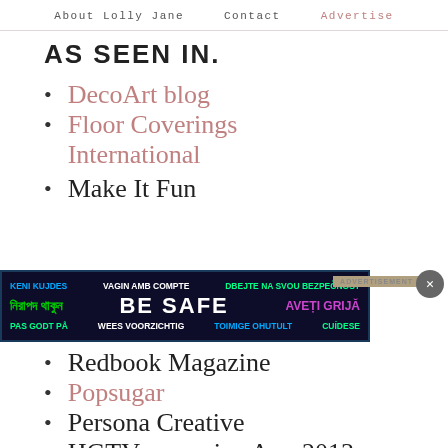About Lolly Jane   Contact   Advertise
AS SEEN IN.
DecoArt blog
Floor Coverings International
Make It Fun
[Figure (infographic): BE SAFE advertisement banner with multilingual safety messages in colorful text on dark background]
Redbook Magazine
Popsugar
Persona Creative
HGTV magazine Aug 2013
Time Out for Women…